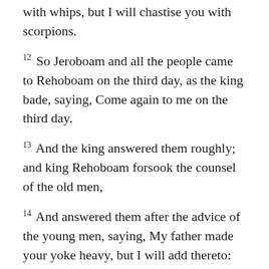with whips, but I will chastise you with scorpions.
12 So Jeroboam and all the people came to Rehoboam on the third day, as the king bade, saying, Come again to me on the third day.
13 And the king answered them roughly; and king Rehoboam forsook the counsel of the old men,
14 And answered them after the advice of the young men, saying, My father made your yoke heavy, but I will add thereto: my father chastised you with whips, but I will chastise you with scorpions.
*** NOTE: Rehoboam’s decision caused the divided kingdom – the Kingdom of Judah made up of the tribes of Judah and Benjamin in the South and the